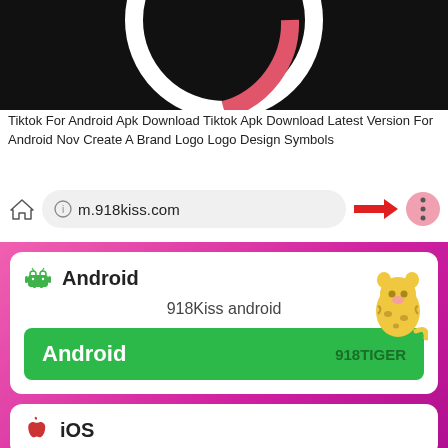[Figure (screenshot): TikTok logo on dark background - partial top portion of image showing white ring on black]
Tiktok For Android Apk Download Tiktok Apk Download Latest Version For Android Nov Create A Brand Logo Logo Design Symbols
[Figure (screenshot): Browser address bar showing m.918kiss.com with a red arrow pointing to a pink circle with three vertical dots (menu icon)]
[Figure (screenshot): Website section with pink/magenta gradient border background showing Android download card: Android robot icon, text '918Kiss android', green button labeled 'Android' with '918TIGER' text, and a cartoon tiger/leopard illustration. Below that is the start of an iOS card with Apple logo and 'iOS' text.]